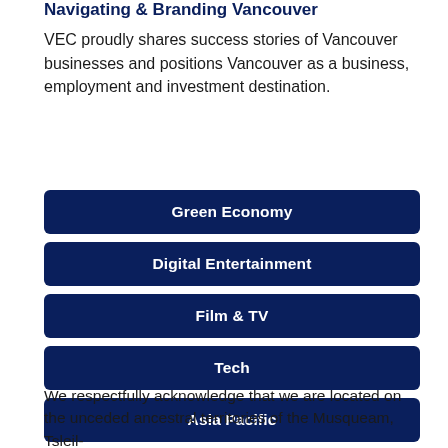Navigating & Branding Vancouver
VEC proudly shares success stories of Vancouver businesses and positions Vancouver as a business, employment and investment destination.
Green Economy
Digital Entertainment
Film & TV
Tech
Asia Pacific
We respectfully acknowledge that we are located on the unceded ancestral territories of the Musqueam, Tsleil-